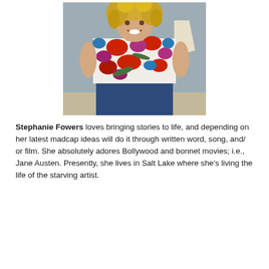[Figure (photo): A smiling woman with curly blonde hair wearing a white floral top with red, pink, and blue flowers, and blue jeans. She is standing outdoors against a light grey wall background.]
Stephanie Fowers loves bringing stories to life, and depending on her latest madcap ideas will do it through written word, song, and/ or film. She absolutely adores Bollywood and bonnet movies; i.e., Jane Austen. Presently, she lives in Salt Lake where she's living the life of the starving artist.